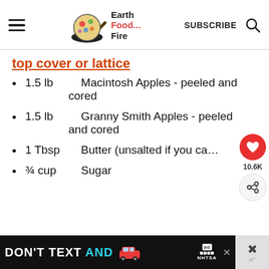Earth Food Fire — SUBSCRIBE
top cover or lattice
1.5 lb   Macintosh Apples - peeled and cored
1.5 lb   Granny Smith Apples - peeled and cored
1 Tbsp   Butter (unsalted if you ca…
¾ cup   Sugar
[Figure (other): Advertisement banner: DON'T TEXT AND [car emoji], NHTSA]
[Figure (other): Social share widget: heart button with 10.6K likes, share button]